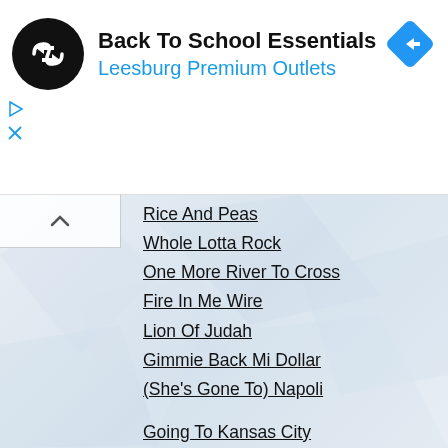[Figure (infographic): Advertisement banner for Back To School Essentials at Leesburg Premium Outlets. Shows a black circular logo with a infinity/arrow symbol, a blue navigation diamond icon, and ad control icons.]
Rice And Peas
Whole Lotta Rock
One More River To Cross
Fire In Me Wire
Lion Of Judah
Gimmie Back Mi Dollar
(She's Gone To) Napoli
Going To Kansas City
Raggae Prayer
Skinhead Train (Bonus)
Auge y caida
Bag-A-Boo